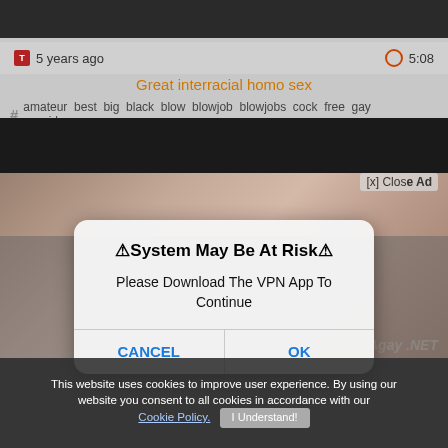[Figure (screenshot): Screenshot of a video website page showing metadata row with '5 years ago' and '5:08' duration, a video title in orange, hashtag tags row, and a video thumbnail area with a popup dialog overlay and cookie consent banner.]
5 years ago
5:08
Great interracial homo sex
# amateur best big black blow blowjob blowjobs cock free gay gayvideos ...
[x] Close Ad
SP Agay .NET
⚠System May Be At Risk⚠

Please Download The VPN App To Continue

CANCEL    OK
This website uses cookies to improve user experience. By using our website you consent to all cookies in accordance with our Cookie Policy.   I Understand!